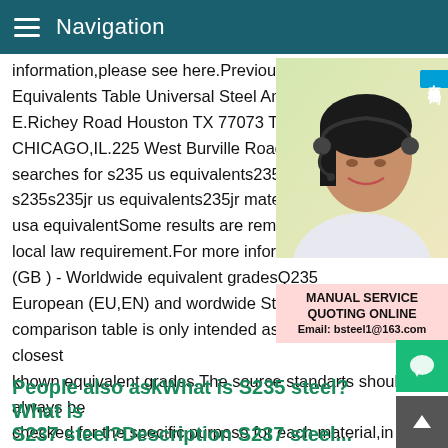Navigation
information,please see here.Previous1234 Equivalents Table Universal Steel America E.Richey Road Houston TX 77073 Toll Fre CHICAGO,IL.225 West Burville Road Cret searches for s235 us equivalents235 steel s235s235jr us equivalents235jr material us usa equivalentSome results are removed i local law requirement.For more informatio (GB ) - Worldwide equivalent gradesQ235 European (EU,EN) and wordwide Steel eq comparison table is only intended as an indication of the closest khown equivalent grades.The source standarts should always be checked for the specific purpose for each material,in case of d Buy,sell,suppliers search product Q235B on-line
[Figure (photo): Customer service representative woman wearing headset, with Chinese text badge '在线咨询' (Online Consultation) and service information: MANUAL SERVICE, QUOTING ONLINE, Email: bsteel1@163.com]
People also askWhat is S235 steel?What is S237 steel?Description S237 steel...